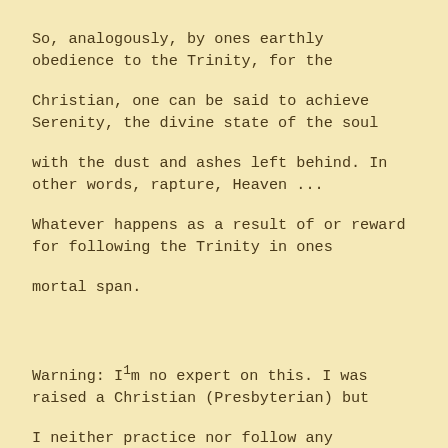So, analogously, by ones earthly obedience to the Trinity, for the
Christian, one can be said to achieve Serenity, the divine state of the soul
with the dust and ashes left behind. In other words, rapture, Heaven ...
Whatever happens as a result of or reward for following the Trinity in ones
mortal span.
Warning: I¹m no expert on this. I was raised a Christian (Presbyterian) but
I neither practice nor follow any religion. Just a book reader. A lot of
books inherited from Presbyterian minister uncle of mine.